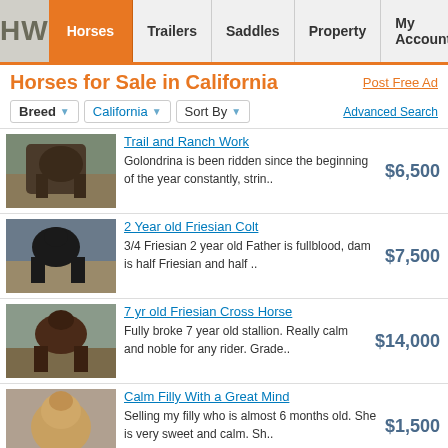HW | Horses | Trailers | Saddles | Property | My Account
Horses for Sale in California
Post Free Ad
Breed ▼  California ▼  Sort By ▼  Advanced Search
Trail and Ranch Work — Golondrina is been ridden since the beginning of the year constantly, strin.. — $6,500
2 Year old Friesian Colt — 3/4 Friesian 2 year old Father is fullblood, dam is half Friesian and half .. — $7,500
7 yr old Friesian Cross Horse — Fully broke 7 year old stallion. Really calm and noble for any rider. Grade.. — $14,000
Calm Filly With a Great Mind — Selling my filly who is almost 6 months old. She is very sweet and calm. Sh.. — $1,500
4Yr Gelding — 4yr gelding for sale. Up to date on shots and teeth. Great with Ferrier and.. — $2,500
2 Horses — "Baby" is a 25yr old Pony Mare 13hh, she is bomb proof. She does .. — $2,000
Arabian Gelding (Sell/Trade) — Dessert Sheek is a 20yr old Arabian gelding from what I was told when I pur.. — $1,000